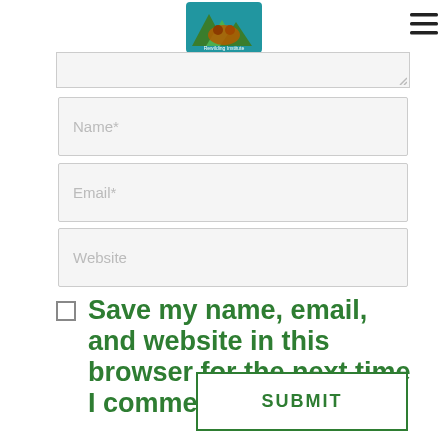[Figure (logo): Rewilding Institute logo with mountains, tree, and animal in a green and orange design]
[Figure (other): Hamburger menu icon (three horizontal lines)]
[Figure (other): Partially visible comment text area input box]
Name*
Email*
Website
Save my name, email, and website in this browser for the next time I comment.
SUBMIT